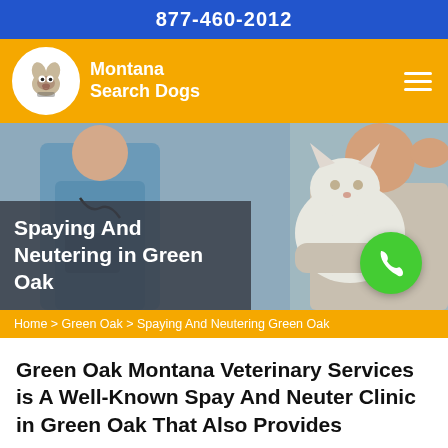877-460-2012
[Figure (logo): Montana Search Dogs logo with dog icon in white circle on orange bar, hamburger menu icon on right]
[Figure (photo): Hero image showing veterinarian in blue scrubs holding a white fluffy cat, with semi-transparent dark overlay on left side containing the page title, and a green phone button on the right]
Spaying And Neutering in Green Oak
Home > Green Oak > Spaying And Neutering Green Oak
Green Oak Montana Veterinary Services is A Well-Known Spay And Neuter Clinic in Green Oak That Also Provides